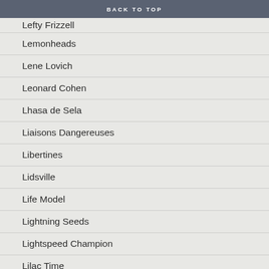BACK TO TOP
Lefty Frizzell
Lemonheads
Lene Lovich
Leonard Cohen
Lhasa de Sela
Liaisons Dangereuses
Libertines
Lidsville
Life Model
Lightning Seeds
Lightspeed Champion
Lilac Time
Lizard Music